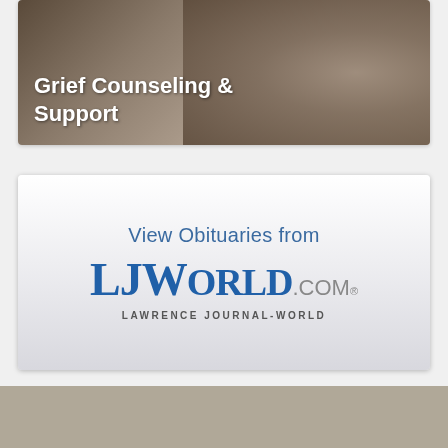[Figure (photo): Grief Counseling & Support banner with dark sepia-toned hands photograph and bold white text overlay]
[Figure (logo): View Obituaries from LJWorld.com / Lawrence Journal-World banner advertisement with blue text on light gray gradient background]